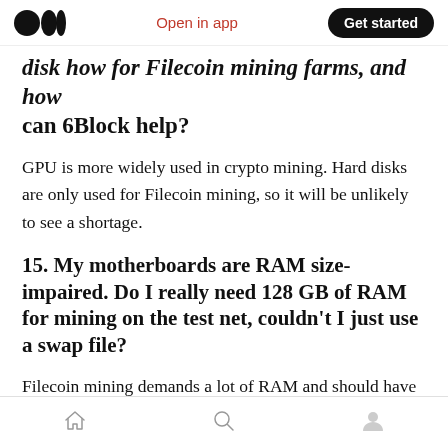Open in app  Get started
disk how for Filecoin mining farms, and how can 6Block help?
GPU is more widely used in crypto mining. Hard disks are only used for Filecoin mining, so it will be unlikely to see a shortage.
15. My motherboards are RAM size-impaired. Do I really need 128 GB of RAM for mining on the test net, couldn't I just use a swap file?
Filecoin mining demands a lot of RAM and should have at least 128 GB of RAM. If you use a swap file instead, it will make the mining process
Home  Search  Profile